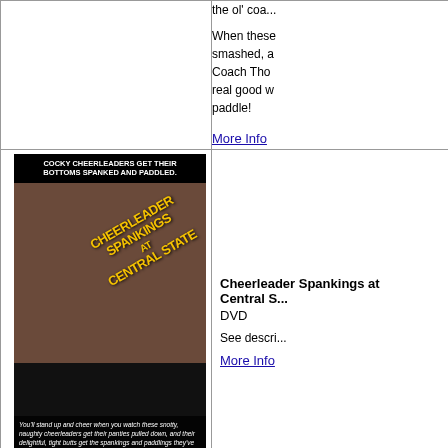the ol' coa...
When these smashed, Coach Tho real good w paddle!
More Info
[Figure (photo): DVD cover for 'Cheerleader Spankings at Central State' showing text 'COCKY CHEERLEADERS GET THEIR BOTTOMS SPANKED AND PADDLED.' with title overlay and promotional text at bottom.]
Cheerleader Spankings at Central State DVD
See descri...
More Info